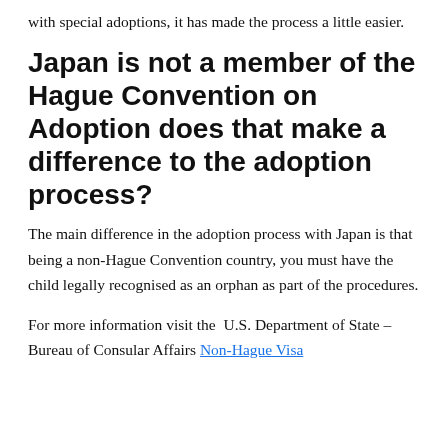with special adoptions, it has made the process a little easier.
Japan is not a member of the Hague Convention on Adoption does that make a difference to the adoption process?
The main difference in the adoption process with Japan is that being a non-Hague Convention country, you must have the child legally recognised as an orphan as part of the procedures.
For more information visit the U.S. Department of State – Bureau of Consular Affairs Non-Hague Visa